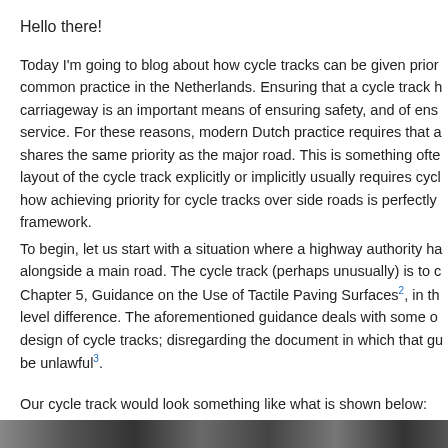Hello there!
Today I'm going to blog about how cycle tracks can be given prior common practice in the Netherlands. Ensuring that a cycle track h carriageway is an important means of ensuring safety, and of ens service. For these reasons, modern Dutch practice requires that a shares the same priority as the major road. This is something ofte layout of the cycle track explicitly or implicitly usually requires cycl how achieving priority for cycle tracks over side roads is perfectly framework.
To begin, let us start with a situation where a highway authority ha alongside a main road. The cycle track (perhaps unusually) is to c Chapter 5, Guidance on the Use of Tactile Paving Surfaces², in th level difference. The aforementioned guidance deals with some o design of cycle tracks; disregarding the document in which that gu be unlawful³.
Our cycle track would look something like what is shown below:
[Figure (photo): Bottom strip showing a partial view of a cycle track or road, dark image]